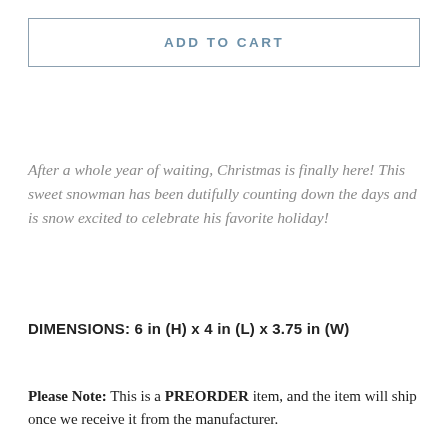ADD TO CART
After a whole year of waiting, Christmas is finally here! This sweet snowman has been dutifully counting down the days and is snow excited to celebrate his favorite holiday!
DIMENSIONS: 6 in (H) x 4 in (L) x 3.75 in (W)
Please Note: This is a PREORDER item, and the item will ship once we receive it from the manufacturer.